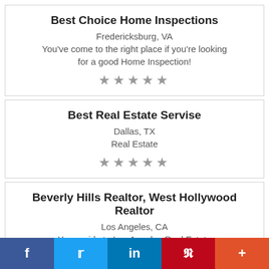Best Choice Home Inspections
Fredericksburg, VA
You've come to the right place if you're looking for a good Home Inspection!
[Figure (other): 5 star rating icons]
Best Real Estate Servise
Dallas, TX
Real Estate
[Figure (other): 5 star rating icons]
Beverly Hills Realtor, West Hollywood Realtor
Los Angeles, CA
Your guide to Los Angeles Real Estate
f  Twitter  in  P  +